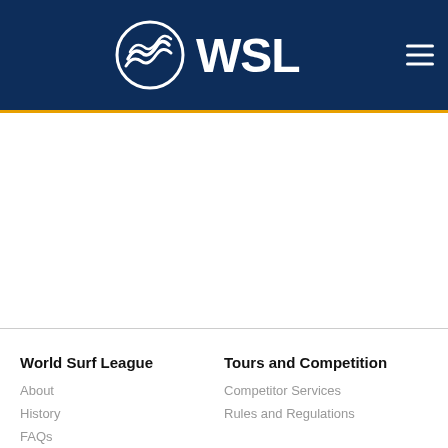WSL - World Surf League
[Figure (logo): WSL World Surf League logo with wave circle icon in white on dark navy background]
World Surf League
About
History
FAQs
Careers
Tours and Competition
Competitor Services
Rules and Regulations